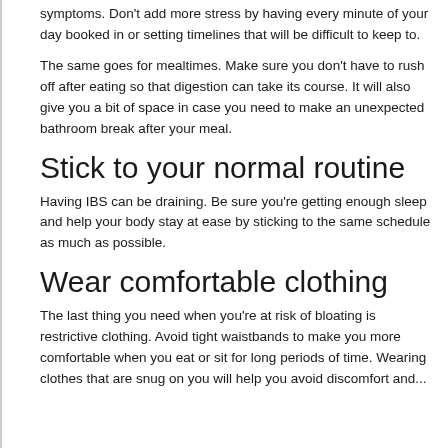symptoms. Don't add more stress by having every minute of your day booked in or setting timelines that will be difficult to keep to.
The same goes for mealtimes. Make sure you don't have to rush off after eating so that digestion can take its course. It will also give you a bit of space in case you need to make an unexpected bathroom break after your meal.
Stick to your normal routine
Having IBS can be draining. Be sure you're getting enough sleep and help your body stay at ease by sticking to the same schedule as much as possible.
Wear comfortable clothing
The last thing you need when you're at risk of bloating is restrictive clothing. Avoid tight waistbands to make you more comfortable when you eat or sit for long periods of time. Wearing clothes that are snug on you will help you avoid discomfort and...